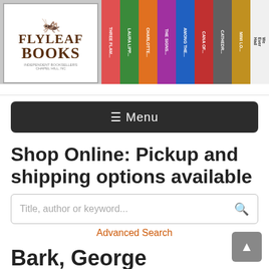[Figure (screenshot): Flyleaf Books store header with logo and colorful book spines]
☰ Menu
Shop Online: Pickup and shipping options available
Title, author or keyword...
Advanced Search
Bark, George (Hardcover)